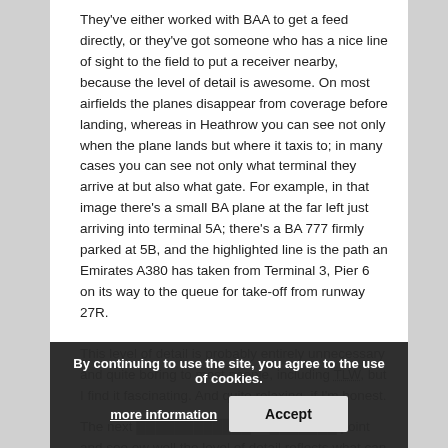They've either worked with BAA to get a feed directly, or they've got someone who has a nice line of sight to the field to put a receiver nearby, because the level of detail is awesome. On most airfields the planes disappear from coverage before landing, whereas in Heathrow you can see not only when the plane lands but where it taxis to; in many cases you can see not only what terminal they arrive at but also what gate. For example, in that image there's a small BA plane at the far left just arriving into terminal 5A; there's a BA 777 firmly parked at 5B, and the highlighted line is the path an Emirates A380 has taken from Terminal 3, Pier 6 on its way to the queue for take-off from runway 27R.
This level of detail is probably entirely unnecessary and quite boring to most people, including TLW, but I find it fascinating. And quite relaxing, if I'm honest.
The next step is perhaps to demonstrate the point and see ow well the level of detail reflects what can be seen out the window. I understand that there's a nice view of
By continuing to use the site, you agree to the use of cookies.